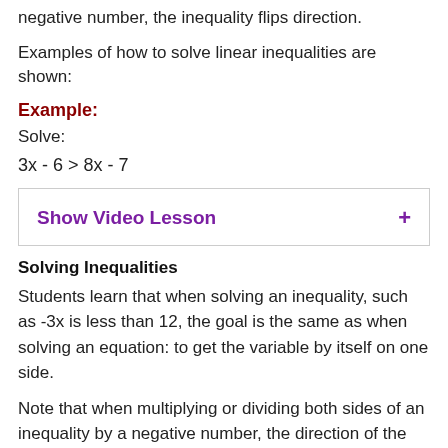negative number, the inequality flips direction.
Examples of how to solve linear inequalities are shown:
Example:
Solve:
[Figure (other): Show Video Lesson interactive box with purple text and a plus sign on the right]
Solving Inequalities
Students learn that when solving an inequality, such as -3x is less than 12, the goal is the same as when solving an equation: to get the variable by itself on one side.
Note that when multiplying or dividing both sides of an inequality by a negative number, the direction of the inequality sign must be switched.